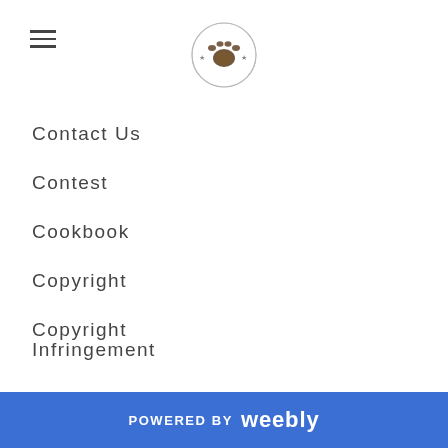[hamburger menu icon] [paw print logo]
Contact Us
Contest
Cookbook
Copyright
Copyright Infringement
Crash Into Me
Creative Expressions Event
Croatia
Cudworth
POWERED BY weebly